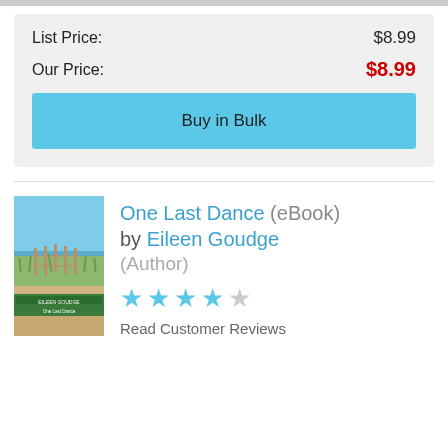List Price: $8.99
Our Price: $8.99
Buy in Bulk
[Figure (illustration): Book cover for 'One Last Dance' by Eileen Goudge, showing a beach scene with grass and sky]
One Last Dance (eBook)
by Eileen Goudge (Author)
★★★★☆ Read Customer Reviews